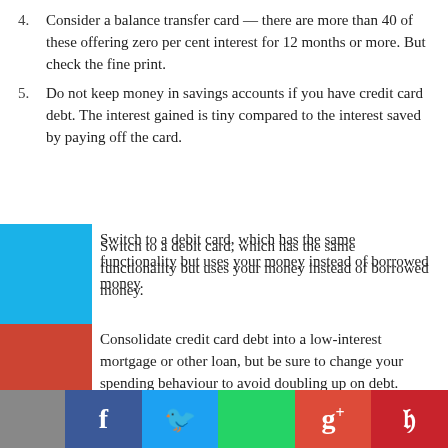Consider a balance transfer card — there are more than 40 of these offering zero per cent interest for 12 months or more. But check the fine print.
Do not keep money in savings accounts if you have credit card debt. The interest gained is tiny compared to the interest saved by paying off the card.
Switch to a debit card, which has the same functionality but uses your money instead of borrowed money.
Consolidate credit card debt into a low-interest mortgage or other loan, but be sure to change your spending behaviour to avoid doubling up on debt.
u must have a credit card Canstar and RateCity have